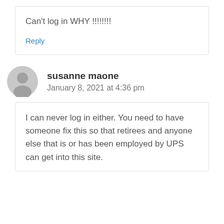Can't log in WHY !!!!!!!!
Reply
susanne maone
January 8, 2021 at 4:36 pm
I can never log in either. You need to have someone fix this so that retirees and anyone else that is or has been employed by UPS can get into this site.